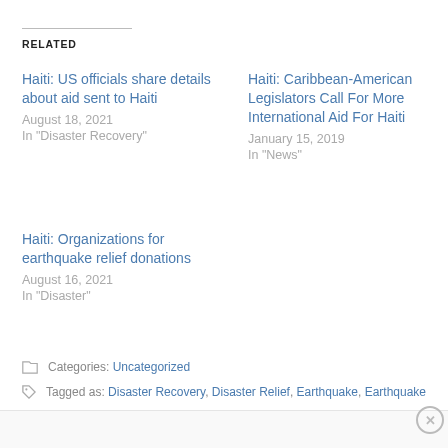RELATED
Haiti: US officials share details about aid sent to Haiti
August 18, 2021
In "Disaster Recovery"
Haiti: Caribbean-American Legislators Call For More International Aid For Haiti
January 15, 2019
In "News"
Haiti: Organizations for earthquake relief donations
August 16, 2021
In "Disaster"
Categories: Uncategorized
Tagged as: Disaster Recovery, Disaster Relief, Earthquake, Earthquake
[Figure (other): WordPress VIP advertisement banner with Learn more button]